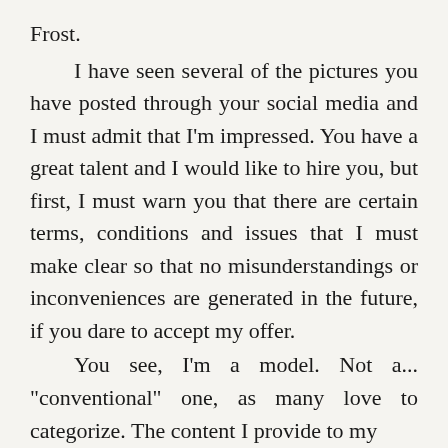Frost.

    I have seen several of the pictures you have posted through your social media and I must admit that I'm impressed. You have a great talent and I would like to hire you, but first, I must warn you that there are certain terms, conditions and issues that I must make clear so that no misunderstandings or inconveniences are generated in the future, if you dare to accept my offer.
    You see, I'm a model. Not a... "conventional" one, as many love to categorize. The content I provide to my